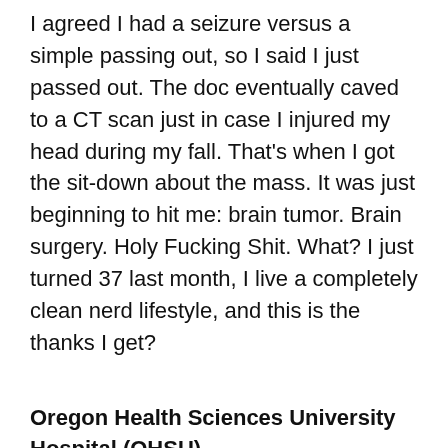I agreed I had a seizure versus a simple passing out, so I said I just passed out. The doc eventually caved to a CT scan just in case I injured my head during my fall. That's when I got the sit-down about the mass. It was just beginning to hit me: brain tumor. Brain surgery. Holy Fucking Shit. What? I just turned 37 last month, I live a completely clean nerd lifestyle, and this is the thanks I get?
Oregon Health Sciences University Hospital (OHSU)
Fast forward to OHSU medical center and there were lots of tests, lots of blood samples, and many bags of IV fluids. I've never been to a